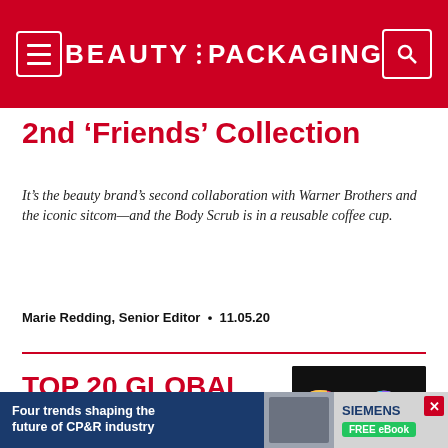BEAUTY PACKAGING
2nd 'Friends' Collection
It's the beauty brand's second collaboration with Warner Brothers and the iconic sitcom—and the Body Scrub is in a reusable coffee cup.
Marie Redding, Senior Editor  •  11.05.20
[Figure (photo): Image showing the number '20' made up of colorful beauty product packaging on a dark background, representing Top 20 Global Beauty Companies]
TOP 20 GLOBAL BEAUTY COMPANIES
Four trends shaping the future of CP&R industry